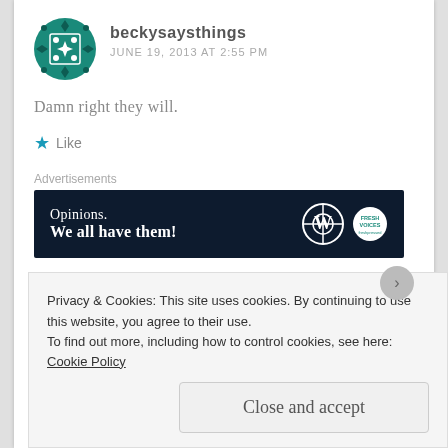[Figure (illustration): Circular teal/dark-teal geometric avatar with diamond and dot pattern]
beckysaysthings
JUNE 19, 2013 AT 2:55 PM
Damn right they will.
★ Like
Advertisements
[Figure (illustration): Dark navy advertisement banner: 'Opinions. We all have them!' with WordPress and Fresh Voices logos]
Privacy & Cookies: This site uses cookies. By continuing to use this website, you agree to their use.
To find out more, including how to control cookies, see here: Cookie Policy
Close and accept